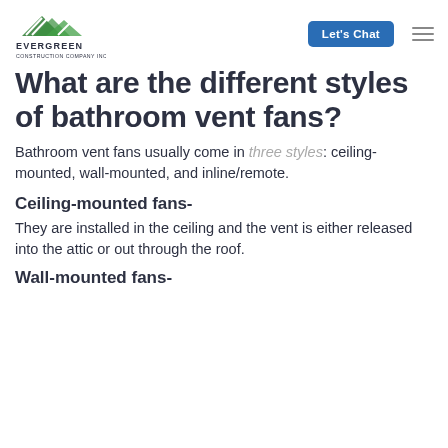Evergreen Construction Company Inc — Let's Chat
What are the different styles of bathroom vent fans?
Bathroom vent fans usually come in three styles: ceiling-mounted, wall-mounted, and inline/remote.
Ceiling-mounted fans-
They are installed in the ceiling and the vent is either released into the attic or out through the roof.
Wall-mounted fans-